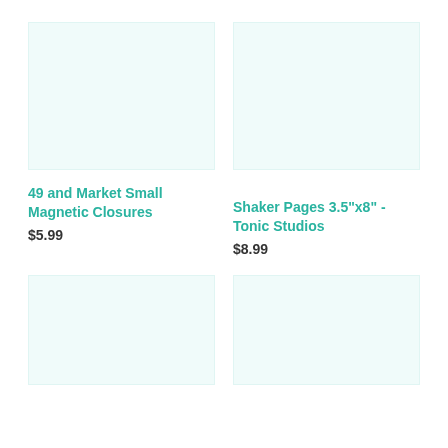[Figure (photo): Product image placeholder - light teal background rectangle for 49 and Market Small Magnetic Closures]
[Figure (photo): Product image placeholder - light teal background rectangle for Shaker Pages 3.5"x8" - Tonic Studios]
49 and Market Small Magnetic Closures
$5.99
Shaker Pages 3.5"x8" - Tonic Studios
$8.99
[Figure (photo): Product image placeholder - light teal background rectangle (bottom left)]
[Figure (photo): Product image placeholder - light teal background rectangle (bottom right)]